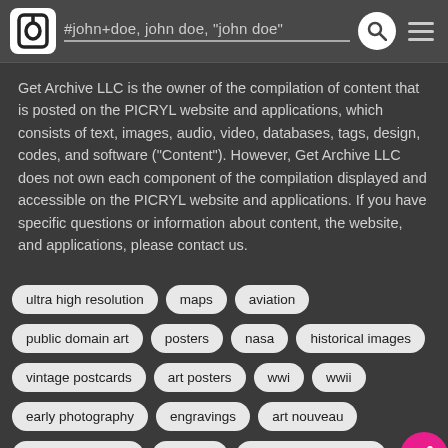#john+doe, john doe, "john doe"
Get Archive LLC is the owner of the compilation of content that is posted on the PICRYL website and applications, which consists of text, images, audio, video, databases, tags, design, codes, and software ("Content"). However, Get Archive LLC does not own each component of the compilation displayed and accessible on the PICRYL website and applications. If you have specific questions or information about content, the website, and applications, please contact us.
ultra high resolution
maps
aviation
public domain art
posters
nasa
historical images
vintage postcards
art posters
wwi
wwii
early photography
engravings
art nouveau
beautiful and odd
art deco
historic photographs